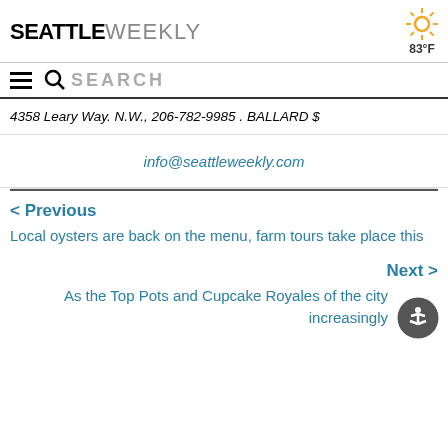SEATTLE WEEKLY | 83°F
SEARCH
4358 Leary Way. N.W., 206-782-9985 . BALLARD $
info@seattleweekly.com
< Previous
Local oysters are back on the menu, farm tours take place this
Next >
As the Top Pots and Cupcake Royales of the city increasingly